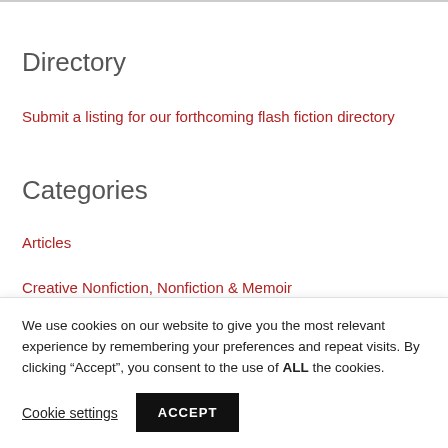Directory
Submit a listing for our forthcoming flash fiction directory
Categories
Articles
Creative Nonfiction, Nonfiction & Memoir
Flash Fiction
We use cookies on our website to give you the most relevant experience by remembering your preferences and repeat visits. By clicking “Accept”, you consent to the use of ALL the cookies.